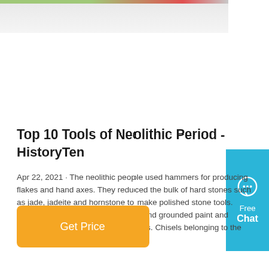[Figure (photo): Partial top strip of a webpage screenshot showing a colorful banner image]
Top 10 Tools of Neolithic Period - HistoryTen
Apr 22, 2021 · The neolithic people used hammers for producing flakes and hand axes. They reduced the bulk of hard stones such as jade, jadeite and hornstone to make polished stone tools. They also cracked nuts and bones and grounded paint and grains through these tools. 3. Chisels. Chisels belonging to the Neolithic Period.
[Figure (infographic): Blue chat widget on the right side with a speech bubble icon and text 'Free Chat']